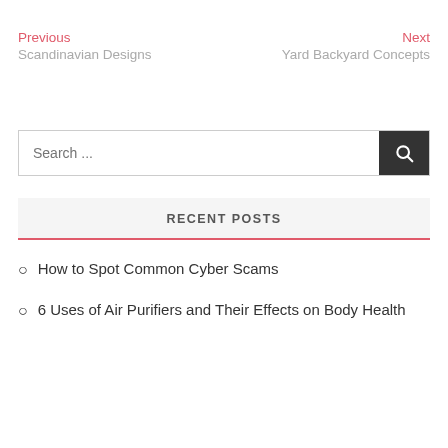Previous
Scandinavian Designs
Next
Yard Backyard Concepts
Search ...
RECENT POSTS
How to Spot Common Cyber Scams
6 Uses of Air Purifiers and Their Effects on Body Health